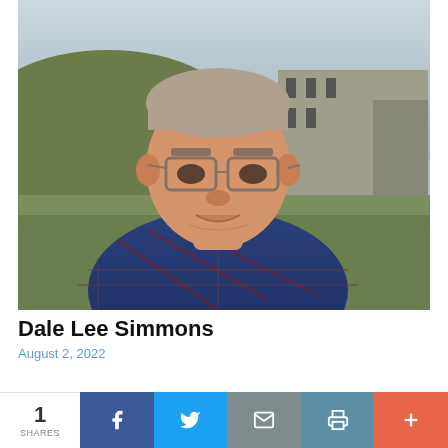[Figure (photo): Outdoor portrait of an elderly man wearing glasses and a blue plaid shirt, standing in front of a stone building and grass-covered earthworks.]
Dale Lee Simmons
August 2, 2022
A Memorial Service for Dale Simmons will be held at 10:00 a.m. on